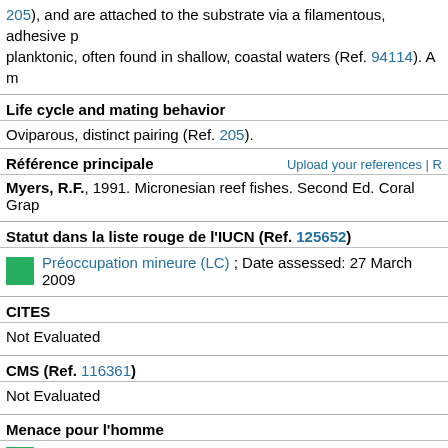205), and are attached to the substrate via a filamentous, adhesive planktonic, often found in shallow, coastal waters (Ref. 94114). A m
Life cycle and mating behavior
Oviparous, distinct pairing (Ref. 205).
Référence principale
Upload your references | R
Myers, R.F., 1991. Micronesian reef fishes. Second Ed. Coral Grap
Statut dans la liste rouge de l'IUCN (Ref. 125652)
Préoccupation mineure (LC) ; Date assessed: 27 March 2009
CITES
Not Evaluated
CMS (Ref. 116361)
Not Evaluated
Menace pour l'homme
Harmless
Utilisations par l'homme